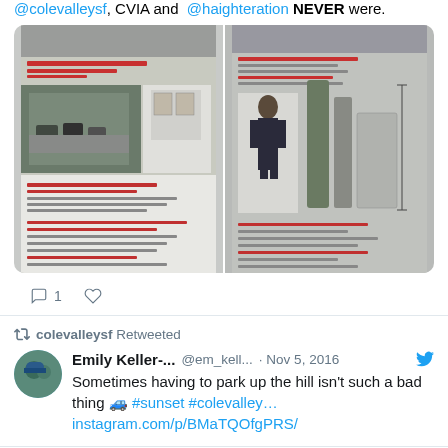@colevalleysf, CVIA and @haighteration NEVER were.
[Figure (screenshot): Two side-by-side images showing street/urban planning documents. Left image shows a street scene with parked cars and a planning diagram. Right image shows a person standing next to tall cylindrical objects with a diagram.]
1 (comment icon) (heart icon)
colevalleysf Retweeted
Emily Keller-... @em_kell... · Nov 5, 2016
Sometimes having to park up the hill isn't such a bad thing 🚙 #sunset #colevalley…
instagram.com/p/BMaTQOfgPRS/
Archives
January 2016